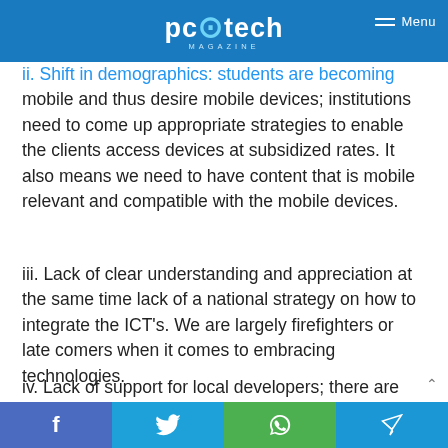pc tech magazine — Menu
ii. Shift in demographics: students are becoming mobile and thus desire mobile devices; institutions need to come up appropriate strategies to enable the clients access devices at subsidized rates. It also means we need to have content that is mobile relevant and compatible with the mobile devices.
iii. Lack of clear understanding and appreciation at the same time lack of a national strategy on how to integrate the ICT's. We are largely firefighters or late comers when it comes to embracing technologies.
iv. Lack of support for local developers; there are limited initiatives that target supporting local initiatives or developers so that local solutions can be born by local developers.
f  t  [whatsapp]  [telegram]